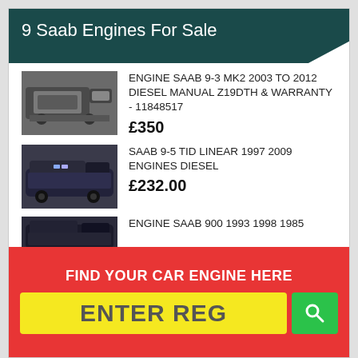9 Saab Engines For Sale
ENGINE SAAB 9-3 MK2 2003 TO 2012 DIESEL MANUAL Z19DTH & WARRANTY - 11848517
£350
SAAB 9-5 TID LINEAR 1997 2009 ENGINES DIESEL
£232.00
ENGINE SAAB 900 1993 1998 1985
FIND YOUR CAR ENGINE HERE
ENTER REG